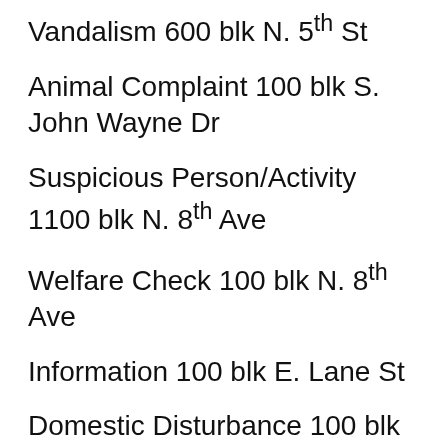Vandalism 600 blk N. 5th St
Animal Complaint 100 blk S. John Wayne Dr
Suspicious Person/Activity 1100 blk N. 8th Ave
Welfare Check 100 blk N. 8th Ave
Information 100 blk E. Lane St
Domestic Disturbance 100 blk E. Lane St
Suspicious Person/Activity 200 blk S. 10th St